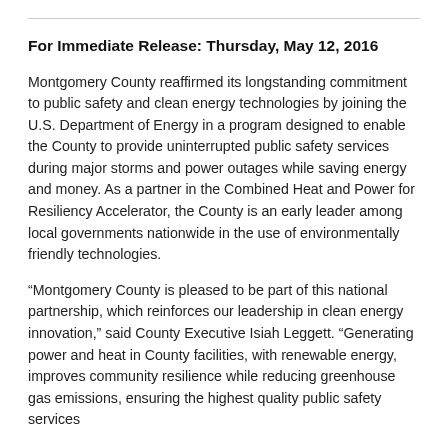For Immediate Release: Thursday, May 12, 2016
Montgomery County reaffirmed its longstanding commitment to public safety and clean energy technologies by joining the U.S. Department of Energy in a program designed to enable the County to provide uninterrupted public safety services during major storms and power outages while saving energy and money. As a partner in the Combined Heat and Power for Resiliency Accelerator, the County is an early leader among local governments nationwide in the use of environmentally friendly technologies.
“Montgomery County is pleased to be part of this national partnership, which reinforces our leadership in clean energy innovation,” said County Executive Isiah Leggett. “Generating power and heat in County facilities, with renewable energy, improves community resilience while reducing greenhouse gas emissions, ensuring the highest quality public safety services